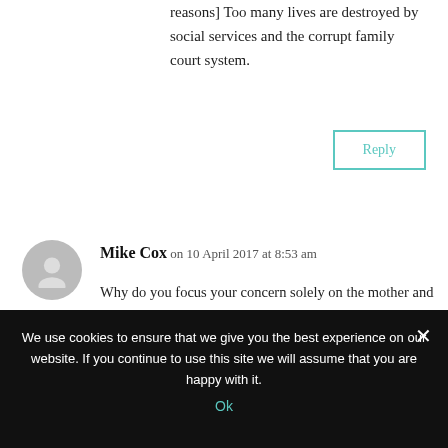reasons] Too many lives are destroyed by social services and the corrupt family court system.
Reply
Mike Cox on 10 April 2017 at 8:53 am
Why do you focus your concern solely on the mother and ignore the possibility of abuse being perpetrated on the father/child dynamic by maintenance of the status quo?
We use cookies to ensure that we give you the best experience on our website. If you continue to use this site we will assume that you are happy with it.
Ok